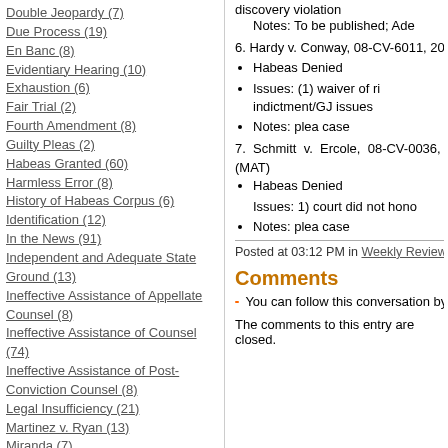Double Jeopardy (7)
Due Process (19)
En Banc (8)
Evidentiary Hearing (10)
Exhaustion (6)
Fair Trial (2)
Fourth Amendment (8)
Guilty Pleas (2)
Habeas Granted (60)
Harmless Error (8)
History of Habeas Corpus (6)
Identification (12)
In the News (91)
Independent and Adequate State Ground (13)
Ineffective Assistance of Appellate Counsel (8)
Ineffective Assistance of Counsel (74)
Ineffective Assistance of Post-Conviction Counsel (8)
Legal Insufficiency (21)
Martinez v. Ryan (13)
Miranda (7)
Miscarriage of Justice (5)
Ninth Circuit (19)
Other Blogs (80)
Other Circuit Courts (16)
discovery violation
Notes: To be published; Ad...
6. Hardy v. Conway, 08-CV-6011, 201...
Habeas Denied
Issues: (1) waiver of r... indictment/GJ issues
Notes: plea case
7. Schmitt v. Ercole, 08-CV-0036, ... (MAT)
Habeas Denied
Issues: 1) court did not hon...
Notes: plea case
Posted at 03:12 PM in Weekly Review...
Comments
You can follow this conversation by s...
The comments to this entry are closed.